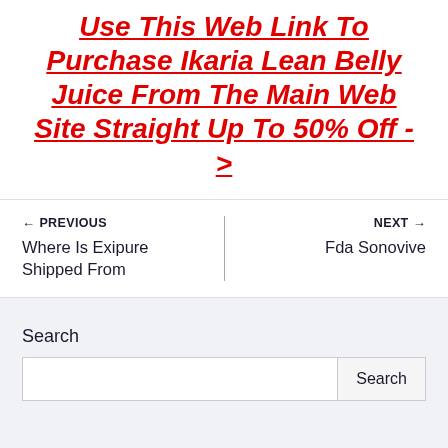Use This Web Link To Purchase Ikaria Lean Belly Juice From The Main Web Site Straight Up To 50% Off ->
← PREVIOUS
Where Is Exipure Shipped From
NEXT →
Fda Sonovive
Search